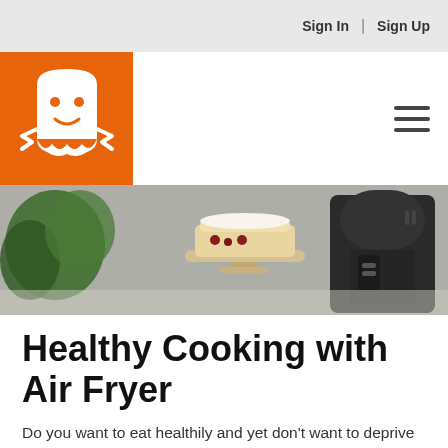Sign In | Sign Up
[Figure (logo): Orange square logo with a white cartoon character icon resembling a tooth or ghost with a smiley face and ribbon/bow arms]
[Figure (photo): Kitchen scene with an air fryer appliance on the right, a cake on a stand in the center, and green herbs/plants on the left]
Healthy Cooking with Air Fryer
Do you want to eat healthily and yet don't want to deprive yourself of your favorite food? Worry no more because you can now prepare guilt-free dishes by using an air fryer.